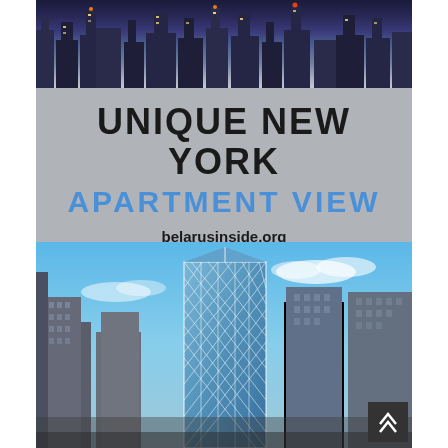[Figure (photo): Night/dusk cityscape of New York City skyline with skyscrapers lit up against a dark blue sky, shown at the top of the image]
UNIQUE NEW YORK APARTMENT VIEW
belarusinside.org
[Figure (photo): Daytime photo of New York City skyline featuring the Hearst Tower (diamond-patterned glass facade) prominently in the center, surrounded by other skyscrapers under a blue sky with light clouds]